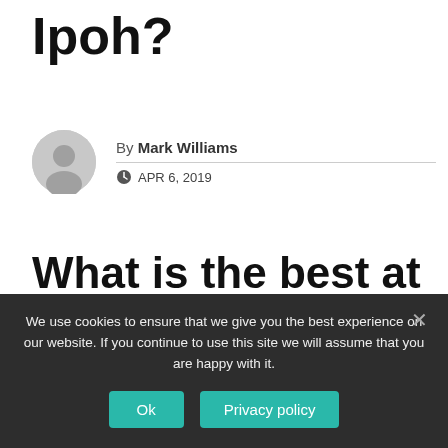Ipoh?
By Mark Williams
APR 6, 2019
What is the best at Ipoh?
Let's explore the best things to do in Ipoh:
We use cookies to ensure that we give you the best experience on our website. If you continue to use this site we will assume that you are happy with it.